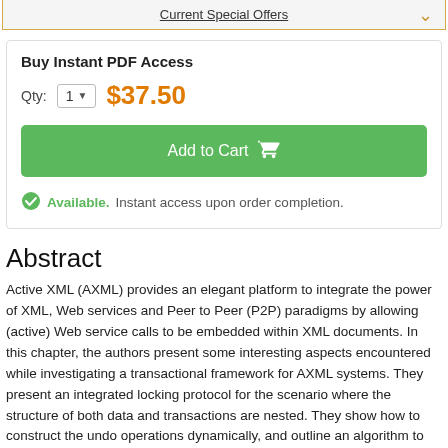Current Special Offers
Buy Instant PDF Access
Qty: 1  $37.50
Add to Cart
Available. Instant access upon order completion.
Abstract
Active XML (AXML) provides an elegant platform to integrate the power of XML, Web services and Peer to Peer (P2P) paradigms by allowing (active) Web service calls to be embedded within XML documents. In this chapter, the authors present some interesting aspects encountered while investigating a transactional framework for AXML systems. They present an integrated locking protocol for the scenario where the structure of both data and transactions are nested. They show how to construct the undo operations dynamically, and outline an algorithm to compute a correct optimum undo order in the presence of nesting and parallelism. Finally, to overcome the inherent problem of peer disconnection, they propose a correct consensus-based protocol and claim it is